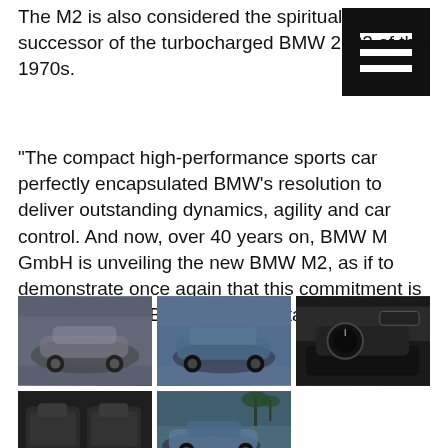The M2 is also considered the spiritual successor of the turbocharged BMW 2002 of the 1970s.
“The compact high-performance sports car perfectly encapsulated BMW’s resolution to deliver outstanding dynamics, agility and car control. And now, over 40 years on, BMW M GmbH is unveiling the new BMW M2, as if to demonstrate once again that this commitment is alive and well,” BMW said in a statement.
[Figure (photo): BMW M2 car from front-side angle on track]
[Figure (photo): BMW M2 blue car from side angle in motion]
[Figure (photo): BMW M2 interior dashboard and steering wheel]
[Figure (photo): BMW M2 interior seats view]
[Figure (photo): BMW M2 rear view with palm trees]